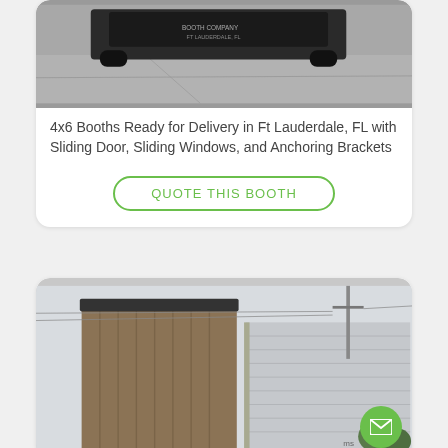[Figure (photo): Top portion of a card showing a truck or vehicle on a concrete surface, partially cropped at the top.]
4x6 Booths Ready for Delivery in Ft Lauderdale, FL with Sliding Door, Sliding Windows, and Anchoring Brackets
QUOTE THIS BOOTH
[Figure (photo): Bottom card showing two booths or structures — a brown/tan metal panel building on the left and a silver/grey wrapped structure on the right, outdoors with a utility pole visible.]